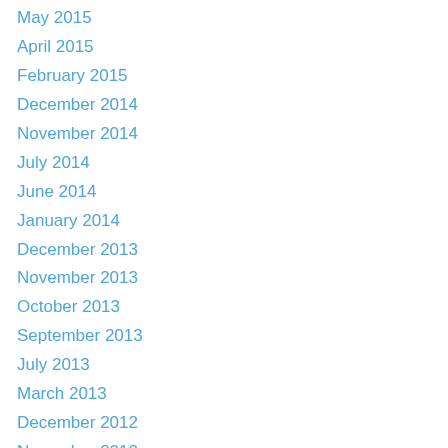May 2015
April 2015
February 2015
December 2014
November 2014
July 2014
June 2014
January 2014
December 2013
November 2013
October 2013
September 2013
July 2013
March 2013
December 2012
November 2012
September 2012
August 2012
July 2012
June 2012